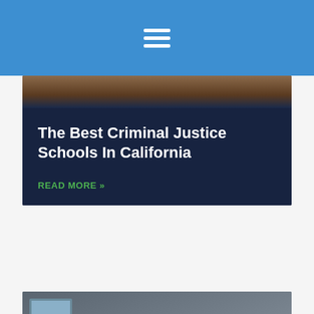☰ (hamburger menu)
[Figure (photo): Top portion of a card showing a photograph, partially visible at the top of the dark blue card]
The Best Criminal Justice Schools In California
READ MORE »
[Figure (photo): Photo of two people sitting across a table in what appears to be an interview or consultation setting. One person has long dark hair and is wearing a black jacket. The other is a bearded man. A green badge reads 'CRIMINAL JUSTICE CAREER'.]